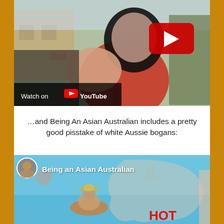[Figure (screenshot): YouTube video thumbnail showing a person wearing a black wig and red shirt, pointing at the camera, with a YouTube play button overlay and 'Watch on YouTube' badge at the bottom left.]
…and Being An Asian Australian includes a pretty good pisstake of white Aussie bogans:
[Figure (screenshot): YouTube video thumbnail for 'Being an Asian Australian' showing a cartoon character in a boat on a map of Australia, with the word 'HOT' partially visible.]